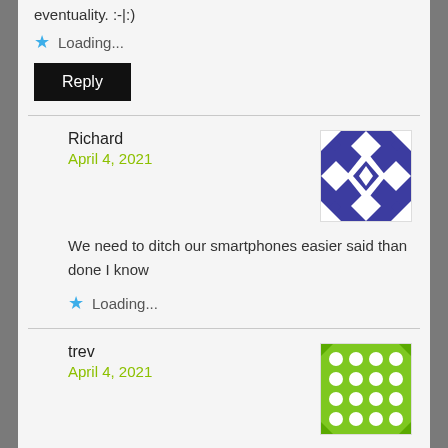eventuality. :-|:)
Loading...
Reply
Richard
April 4, 2021
We need to ditch our smartphones easier said than done I know
Loading...
trev
April 4, 2021
It is easy to ditch a smartphone. A cheap 'burner phone' does all you need from a phone. All that is missing is internet access